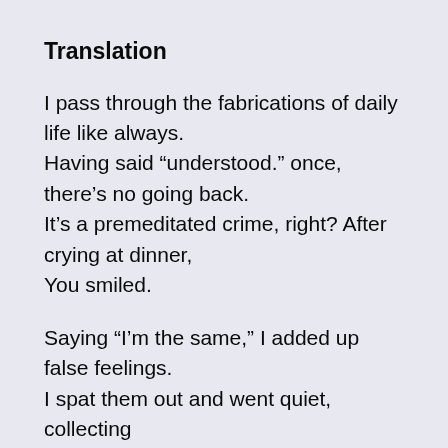Translation
I pass through the fabrications of daily life like always.
Having said “understood.” once, there’s no going back.
It’s a premeditated crime, right? After crying at dinner,
You smiled.
Saying “I’m the same,” I added up false feelings.
I spat them out and went quiet, collecting